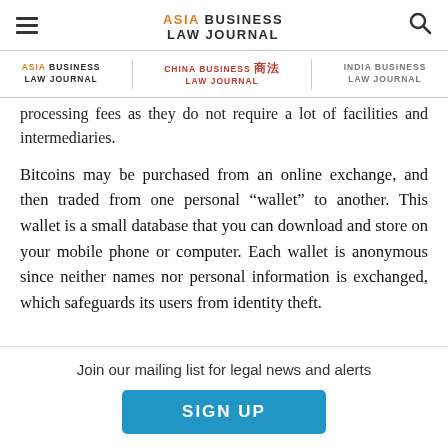ASIA BUSINESS LAW JOURNAL
processing fees as they do not require a lot of facilities and intermediaries.
Bitcoins may be purchased from an online exchange, and then traded from one personal “wallet” to another. This wallet is a small database that you can download and store on your mobile phone or computer. Each wallet is anonymous since neither names nor personal information is exchanged, which safeguards its users from identity theft.
Join our mailing list for legal news and alerts
SIGN UP